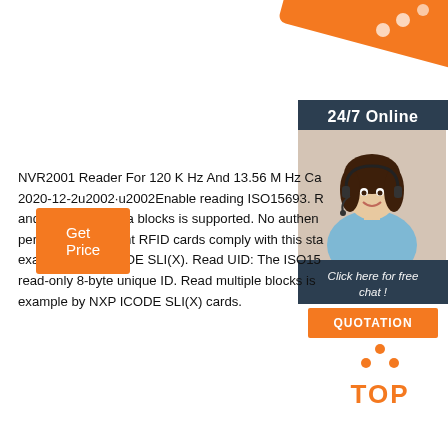[Figure (illustration): Orange decorative banner strip rotated diagonally in top-right corner with dots]
[Figure (photo): 24/7 Online support widget with photo of woman wearing headset, 'Click here for free chat!' text, and orange QUOTATION button on dark navy background]
NVR2001 Reader For 120 K Hz And 13.56 M Hz Ca 2020-12-2u2002·u2002Enable reading ISO15693. R and/or multiple data blocks is supported. No authen performed. Different RFID cards comply with this sta example NXP ICODE SLI(X). Read UID: The ISO15 read-only 8-byte unique ID. Read multiple blocks is example by NXP ICODE SLI(X) cards.
[Figure (illustration): Orange 'Get Price' button]
[Figure (illustration): Orange 'TOP' back-to-top button with dots forming triangle shape]